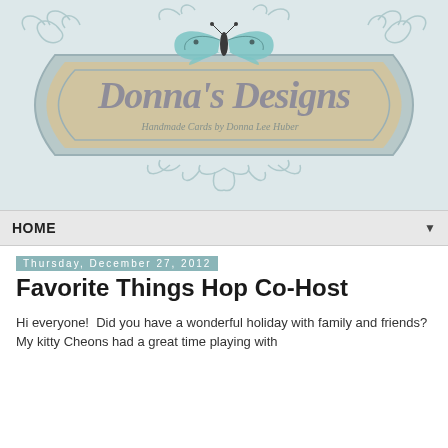[Figure (logo): Donna's Designs blog header logo with ornate vintage frame, butterfly, and scrollwork. Text reads 'Donna's Designs' in cursive script with subtitle 'Handmade Cards by Donna Lee Huber']
HOME ▼
Thursday, December 27, 2012
Favorite Things Hop Co-Host
Hi everyone!  Did you have a wonderful holiday with family and friends?  My kitty Cheons had a great time playing with